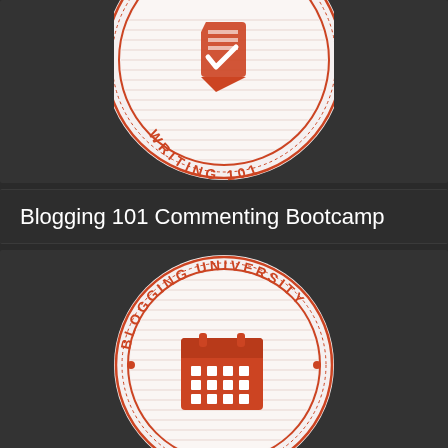[Figure (logo): Blogging University circular badge with 'Writing 101' text and a pencil/checkmark icon, burnt orange on white background]
Blogging 101 Commenting Bootcamp
[Figure (logo): Blogging University circular badge with 'Blogging University' curved text and a calendar icon, burnt orange on white/dark background]